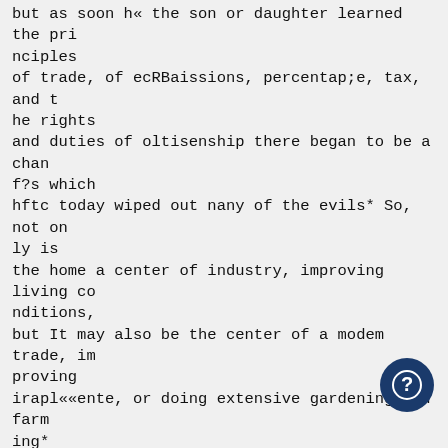but as soon h« the son or daughter learned the principles of trade, of ecRBaissions, percentap;e, tax, and the rights and duties of oltisenship there began to be a chanf?s which hftc today wiped out nany of the evils* So, not only is the home a center of industry, improving living conditions, but It may also be the center of a modem trade, improving irapl««ente, or doing extensive gardening and farming* And also within its walls nay live a son, the Justice of the city or town, who by his sympathy to lift his own, and his new knowledge of rights, has overcome the arrogance of the selfish aristocracy* To tell of all the things used by the school for the training in citizenship d bo Impossible, but we mentlwi the agrloilturo and oth